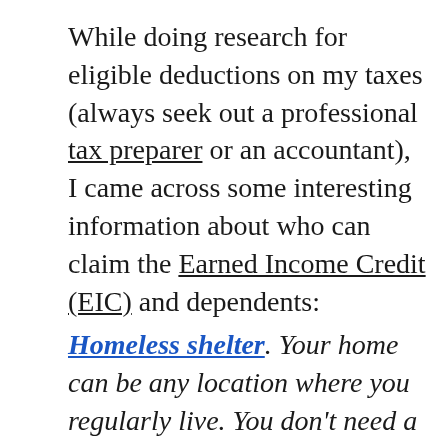While doing research for eligible deductions on my taxes (always seek out a professional tax preparer or an accountant), I came across some interesting information about who can claim the Earned Income Credit (EIC) and dependents:
Homeless shelter. Your home can be any location where you regularly live. You don't need a traditional home. For example, if your child lived with you for more